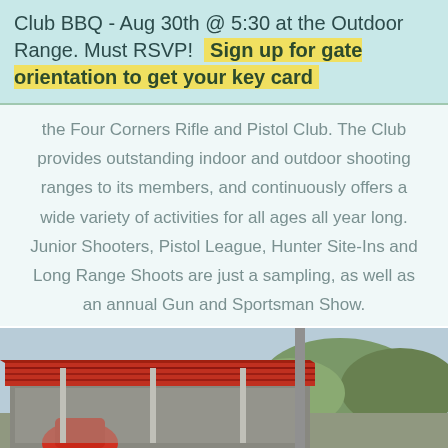Club BBQ - Aug 30th @ 5:30 at the Outdoor Range. Must RSVP! Sign up for gate orientation to get your key card
the Four Corners Rifle and Pistol Club. The Club provides outstanding indoor and outdoor shooting ranges to its members, and continuously offers a wide variety of activities for all ages all year long. Junior Shooters, Pistol League, Hunter Site-Ins and Long Range Shoots are just a sampling, as well as an annual Gun and Sportsman Show.
[Figure (photo): Outdoor shooting range with covered structure and red roof, metal pole, red object in foreground, trees and sky in background]